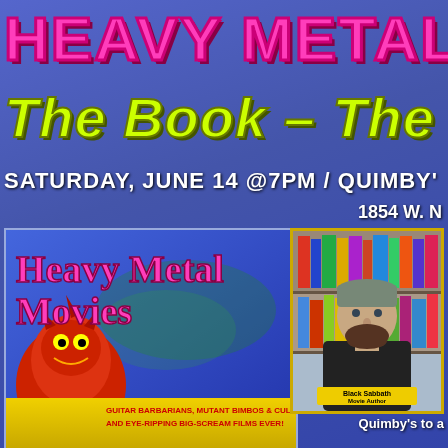Heavy Metal M
The Book - The Rea
SATURDAY, JUNE 14 @7PM / QUIMBY
1854 W. N
[Figure (illustration): Book cover for Heavy Metal Movies showing a red monster creature and yellow subtitle bar reading: GUITAR BARBARIANS, MUTANT BIMBOS & CULT ZOMBIES AMOK AND EYE-RIPPING BIG-SCREAM FILMS EVER!]
[Figure (photo): Photo of a bearded man with a grey beanie hat, wearing black t-shirt with Black Sabbath text, standing in front of bookshelves]
Quimby's to a